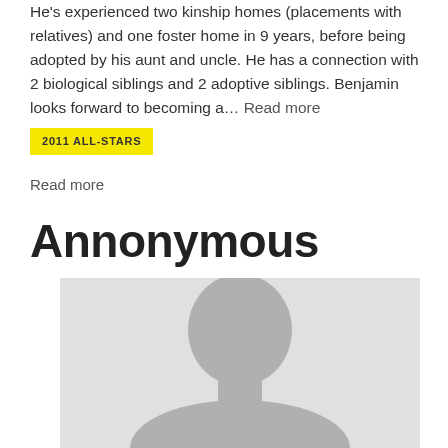He's experienced two kinship homes (placements with relatives) and one foster home in 9 years, before being adopted by his aunt and uncle. He has a connection with 2 biological siblings and 2 adoptive siblings. Benjamin looks forward to becoming a… Read more
2011 ALL-STARS
Read more
Annonymous
[Figure (photo): Anonymous silhouette placeholder image showing a gray background with a dark gray head/person silhouette]